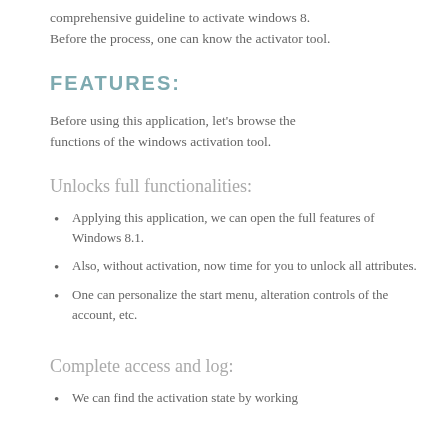comprehensive guideline to activate windows 8. Before the process, one can know the activator tool.
FEATURES:
Before using this application, let's browse the functions of the windows activation tool.
Unlocks full functionalities:
Applying this application, we can open the full features of Windows 8.1.
Also, without activation, now time for you to unlock all attributes.
One can personalize the start menu, alteration controls of the account, etc.
Complete access and log:
We can find the activation state by working